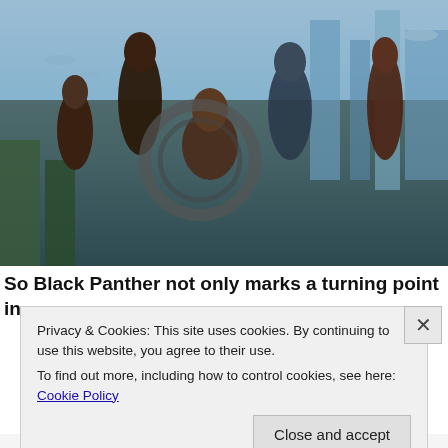[Figure (photo): Black Panther movie promotional poster showing multiple characters from the film including T'Challa, Killmonger, Nakia, Shuri, and other Wakandan characters against a futuristic cityscape background.]
So Black Panther not only marks a turning point in
Privacy & Cookies: This site uses cookies. By continuing to use this website, you agree to their use.
To find out more, including how to control cookies, see here: Cookie Policy
Close and accept